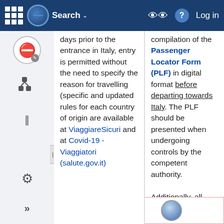Search | Log in
days prior to the entrance in Italy, entry is permitted without the need to specify the reason for travelling (specific and updated rules for each country of origin are available at ViaggiareSicuri and at Covid-19 - Viaggiatori (salute.gov.it)
compilation of the Passenger Locator Form (PLF) in digital format before departing towards Italy. The PLF should be presented when undergoing controls by the competent authority.

Additionally, all information shared on 7 October remains valid.
[Figure (logo): Thumbnail image with globe icon at bottom right of page]